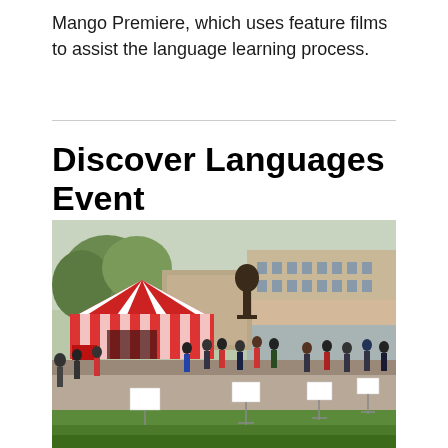Mango Premiere, which uses feature films to assist the language learning process.
Discover Languages Event
[Figure (photo): Outdoor event on a university campus with a red and white striped tent, a large bronze sculpture, a multi-story building in the background, and many students gathered on a brick walkway surrounded by green lawn. Several white signs on stakes are placed along the path.]